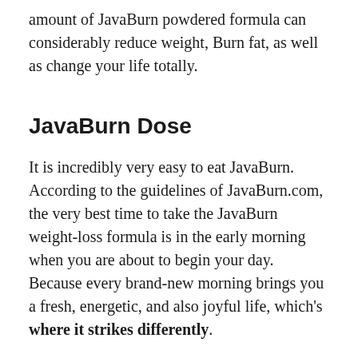amount of JavaBurn powdered formula can considerably reduce weight, Burn fat, as well as change your life totally.
JavaBurn Dose
It is incredibly very easy to eat JavaBurn. According to the guidelines of JavaBurn.com, the very best time to take the JavaBurn weight-loss formula is in the early morning when you are about to begin your day. Because every brand-new morning brings you a fresh, energetic, and also joyful life, which's where it strikes differently.
In each box, you get 30 single-serving packs. Every pack includes powder for one serving. You need to